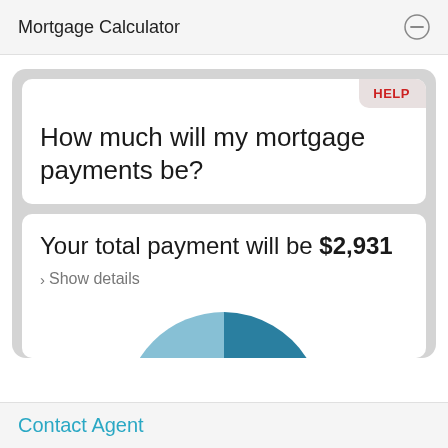Mortgage Calculator
How much will my mortgage payments be?
Your total payment will be $2,931
Show details
[Figure (pie-chart): Partial pie chart showing mortgage payment breakdown, with light blue and dark teal segments visible at bottom of card]
Contact Agent